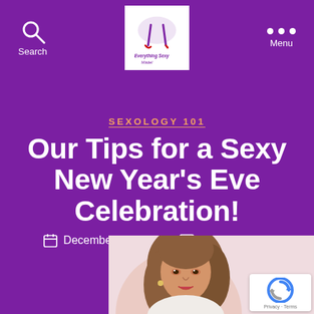Search | Everything Sexy Mädel logo | Menu
SEXOLOGY 101
Our Tips for a Sexy New Year's Eve Celebration!
December 30, 2016   No Comments
[Figure (photo): Photo of a woman with brown hair, wearing elegant attire, cropped at bottom of page. A reCAPTCHA Privacy · Terms badge overlays the bottom right corner.]